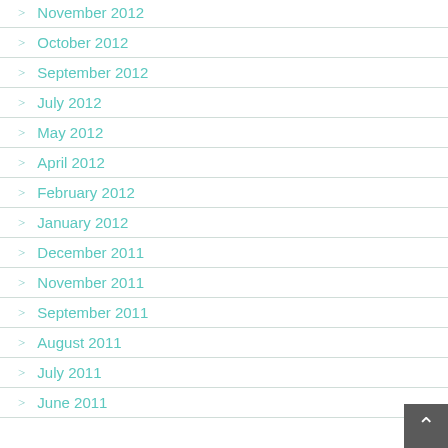November 2012
October 2012
September 2012
July 2012
May 2012
April 2012
February 2012
January 2012
December 2011
November 2011
September 2011
August 2011
July 2011
June 2011